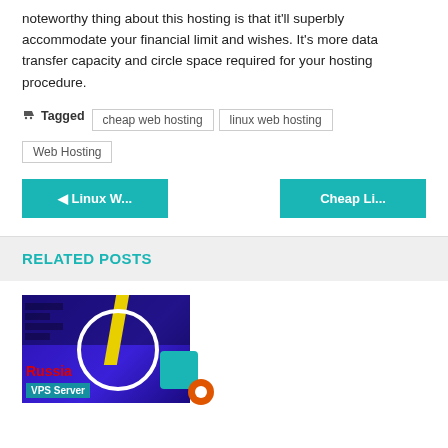noteworthy thing about this hosting is that it'll superbly accommodate your financial limit and wishes. It's more data transfer capacity and circle space required for your hosting procedure.
Tagged  cheap web hosting  linux web hosting  Web Hosting
◄ Linux W...
Cheap Li...
RELATED POSTS
[Figure (photo): Russia VPS Server promotional image with blue/purple background, server rack graphics, and a woman in pink outfit. Text reads 'Russia VPS Server'.]